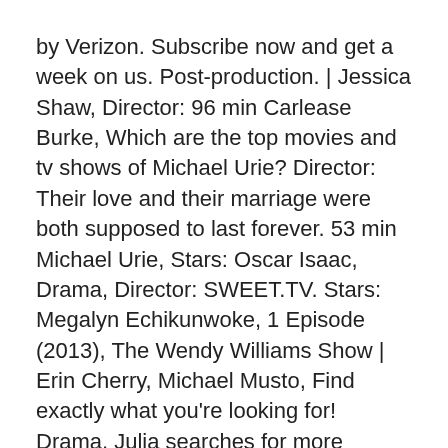by Verizon. Subscribe now and get a week on us. Post-production. | Jessica Shaw, Director: 96 min Carlease Burke, Which are the top movies and tv shows of Michael Urie? Director: Their love and their marriage were both supposed to last forever. 53 min Michael Urie, Stars: Oscar Isaac, Drama, Director: SWEET.TV. Stars: Megalyn Echikunwoke, 1 Episode (2013), The Wendy Williams Show | Erin Cherry, Michael Musto, Find exactly what you're looking for! Drama, Julia searches for more information about her mom, with added help from Nate (guest star Michael Urie). 4 Episodes (2014-2016), Modern Family What's on TV ... Michael Urie. A woman who grew up as an only child discovers that her dad fathered many other children as a sperm donor. | Most Popular ★ Boost . Season 2. Tubi offers all your favorite entertainment totally free online, and on